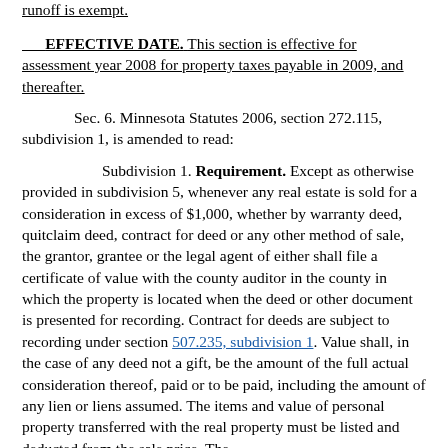runoff is exempt.
EFFECTIVE DATE. This section is effective for assessment year 2008 for property taxes payable in 2009, and thereafter.
Sec. 6. Minnesota Statutes 2006, section 272.115, subdivision 1, is amended to read:
Subdivision 1. Requirement. Except as otherwise provided in subdivision 5, whenever any real estate is sold for a consideration in excess of $1,000, whether by warranty deed, quitclaim deed, contract for deed or any other method of sale, the grantor, grantee or the legal agent of either shall file a certificate of value with the county auditor in the county in which the property is located when the deed or other document is presented for recording. Contract for deeds are subject to recording under section 507.235, subdivision 1. Value shall, in the case of any deed not a gift, be the amount of the full actual consideration thereof, paid or to be paid, including the amount of any lien or liens assumed. The items and value of personal property transferred with the real property must be listed and deducted from the sale price. The